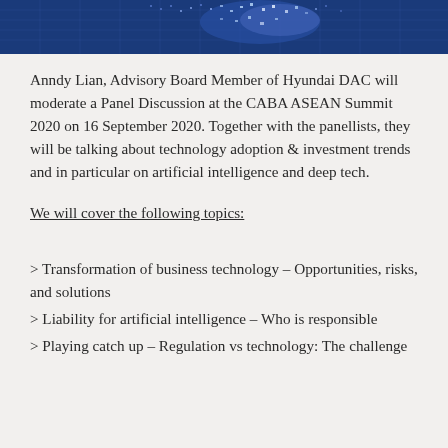[Figure (illustration): Blue banner header with world map/globe grid pattern in lighter blue tones]
Anndy Lian, Advisory Board Member of Hyundai DAC will moderate a Panel Discussion at the CABA ASEAN Summit 2020 on 16 September 2020. Together with the panellists, they will be talking about technology adoption & investment trends and in particular on artificial intelligence and deep tech.
We will cover the following topics:
> Transformation of business technology – Opportunities, risks, and solutions
> Liability for artificial intelligence – Who is responsible
> Playing catch up – Regulation vs technology: The challenge